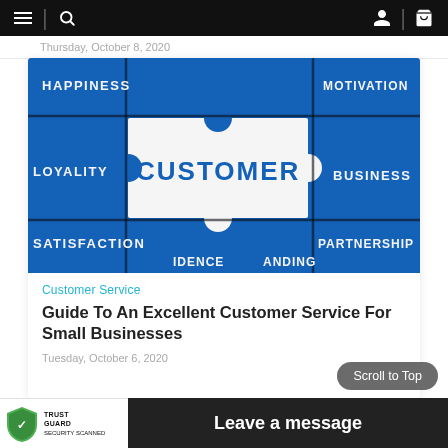Navigation bar with menu, search, account, and cart icons
Thursday, October 8, 2020
[Figure (photo): Blue puzzle pieces with customer service related words: CUSTOMER (center, white piece), HAPPINESS, LOYALITY, SATISFACTION, MOTIVATION, BUSINESS, PARTNERSHIP, IDENCE, ANDING]
Customer Service
Guide To An Excellent Customer Service For Small Businesses
Tuesday, October 6, 2020
TrustGuard Security Scanned | Leave a message